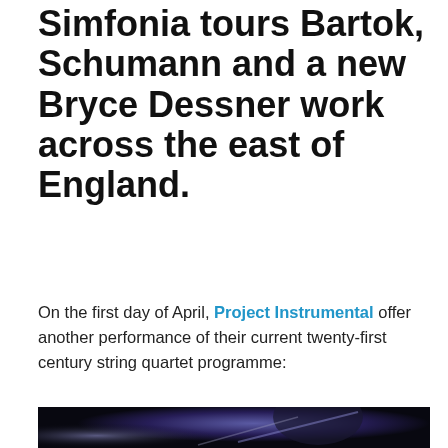Simfonia tours Bartok, Schumann and a new Bryce Dessner work across the east of England.
On the first day of April, Project Instrumental offer another performance of their current twenty-first century string quartet programme:
[Figure (photo): Dark concert photograph of a musician playing violin/string instrument, lit with blue/purple stage lighting, profile view showing face and instrument]